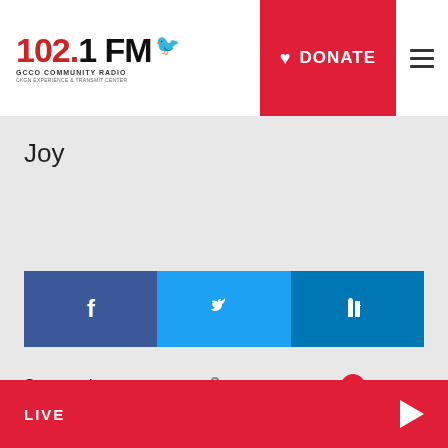[Figure (logo): 102.1 FM GCCO Community Radio logo with bird icon]
[Figure (infographic): DONATE button with heart icon in red]
Joy
[Figure (infographic): Social share bar with Facebook, Twitter, and LinkedIn icons]
Comments   Community   [lock icon]   [1 notification]   Login
Favorite   Sort by Best
Start the discussion…
LIVE  ▶